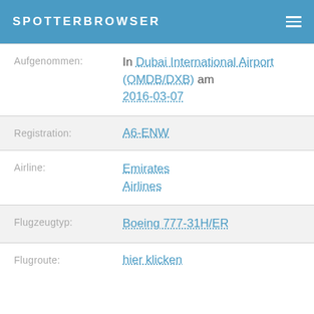SPOTTERBROWSER
| Label | Value |
| --- | --- |
| Aufgenommen: | In Dubai International Airport (OMDB/DXB) am 2016-03-07 |
| Registration: | A6-ENW |
| Airline: | Emirates Airlines |
| Flugzeugtyp: | Boeing 777-31H/ER |
| Flugroute: | hier klicken |